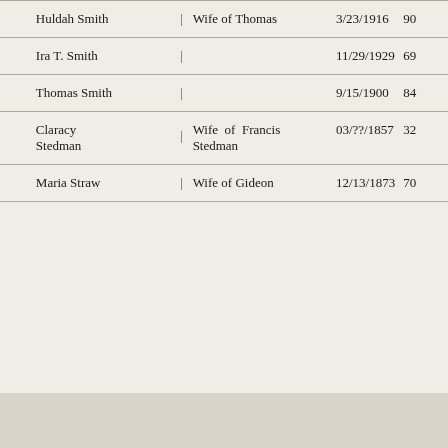| Name |  | Description | Date | Age |
| --- | --- | --- | --- | --- |
| Huldah Smith | | | Wife of Thomas | 3/23/1916 | 90 |
| Ira T. Smith | | |  | 11/29/1929 | 69 |
| Thomas Smith | | |  | 9/15/1900 | 84 |
| Claracy Stedman | | | Wife of Francis Stedman | 03/??/1857 | 32 |
| Maria Straw | | | Wife of Gideon | 12/13/1873 | 70 |